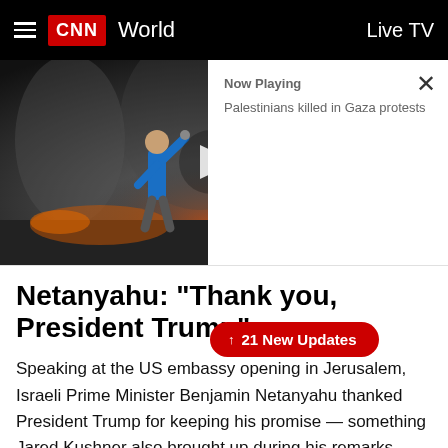CNN World | Live TV
[Figure (screenshot): CNN video thumbnail showing a person in a conflict scene with smoke and fire. Now Playing: Palestinians killed in Gaza protests. Close button (X) in top right.]
Netanyahu: "Thank you, President Trump"
↑ 21 New Updates
Speaking at the US embassy opening in Jerusalem, Israeli Prime Minister Benjamin Netanyahu thanked President Trump for keeping his promise — something Jared Kushner also brought up during his remarks.
"Thank you, President Trump, for having the courage to keep your promise."